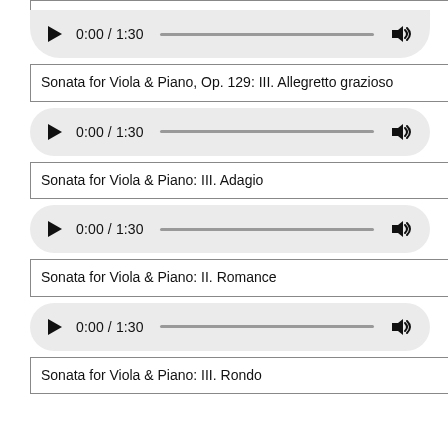[Figure (screenshot): Audio player pill showing 0:00 / 1:30 with play button and volume icon (partial top clip box above)]
Sonata for Viola & Piano, Op. 129: III. Allegretto grazioso
[Figure (screenshot): Audio player pill showing 0:00 / 1:30 with play button and volume icon]
Sonata for Viola & Piano: III. Adagio
[Figure (screenshot): Audio player pill showing 0:00 / 1:30 with play button and volume icon]
Sonata for Viola & Piano: II. Romance
[Figure (screenshot): Audio player pill showing 0:00 / 1:30 with play button and volume icon]
Sonata for Viola & Piano: III. Rondo